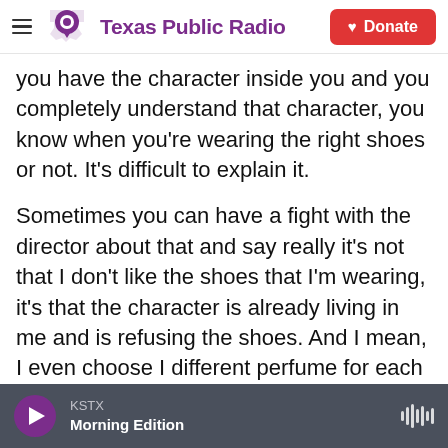Texas Public Radio | Donate
you have the character inside you and you completely understand that character, you know when you're wearing the right shoes or not. It's difficult to explain it.
Sometimes you can have a fight with the director about that and say really it's not that I don't like the shoes that I'm wearing, it's that the character is already living in me and is refusing the shoes. And I mean, I even choose I different perfume for each character. And I love directors that don't treat you as if you were crazy because of that.
BLOCK: What was the perfume for Reinverde?
KSTX Morning Edition